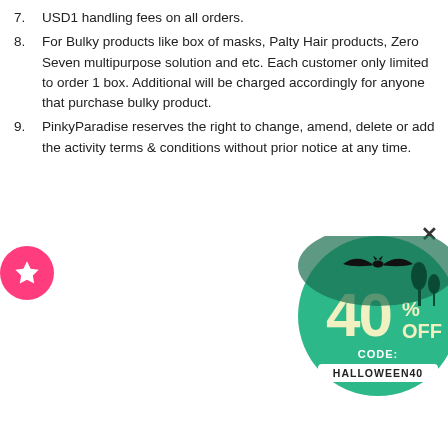7. USD1 handling fees on all orders.
8. For Bulky products like box of masks, Palty Hair products, Zero Seven multipurpose solution and etc. Each customer only limited to order 1 box. Additional will be charged accordingly for anyone that purchase bulky product.
9. PinkyParadise reserves the right to change, amend, delete or add the activity terms & conditions without prior notice at any time.
[Figure (infographic): Pink 'SHOP NOW' button and a circular Halloween 40% OFF promotional badge with CODE: HALLOWEEN40, featuring a bat silhouette on a teal/green background.]